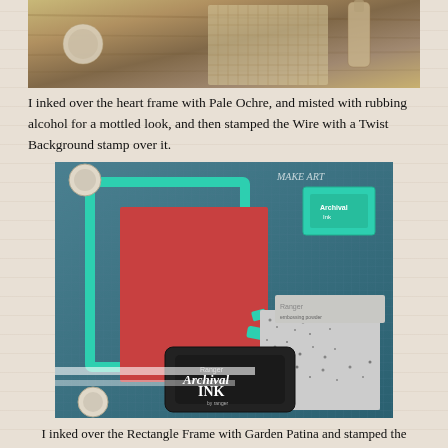[Figure (photo): Top portion of a craft project photo showing stamping tools and materials on a wooden surface, partially cropped]
I inked over the heart frame with Pale Ochre, and misted with rubbing alcohol for a mottled look, and then stamped the Wire with a Twist Background stamp over it.
[Figure (photo): Craft supplies on a blue-green cutting mat: a teal/turquoise rectangle frame, a red textured piece, Archival Ink stamp pad in black, a green Archival Ink pad, and a gray speckled texture swatch. A 'Make Art' label is visible.]
I inked over the Rectangle Frame with Garden Patina and stamped the Frost Background over it. I also inked over parts of the cupcake and candle.